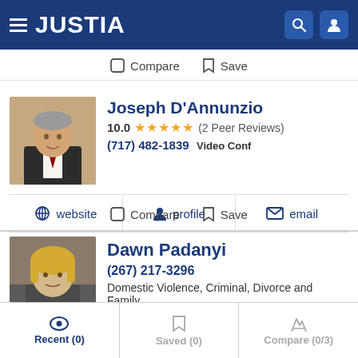JUSTIA
Compare   Save
Joseph D'Annunzio
10.0 ★★★★★ (2 Peer Reviews)
(717) 482-1839 Video Conf
website   profile   email
Compare   Save
Dawn Padanyi
(267) 217-3296
Domestic Violence, Criminal, Divorce and Family
Recent (0)   Saved (0)   Compare (0/3)